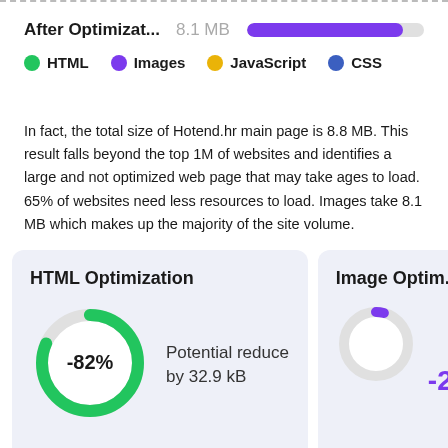After Optimizat...   8.1 MB  [progress bar]
HTML  Images  JavaScript  CSS
In fact, the total size of Hotend.hr main page is 8.8 MB. This result falls beyond the top 1M of websites and identifies a large and not optimized web page that may take ages to load. 65% of websites need less resources to load. Images take 8.1 MB which makes up the majority of the site volume.
HTML Optimization
[Figure (donut-chart): Donut chart showing -82% potential reduction]
Potential reduce by 32.9 kB
Image Optim...
-2%